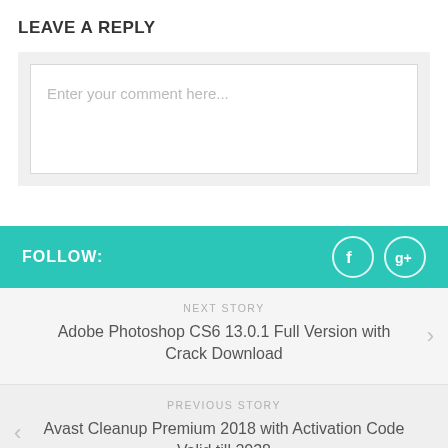LEAVE A REPLY
Enter your comment here...
FOLLOW:
NEXT STORY
Adobe Photoshop CS6 13.0.1 Full Version with Crack Download
PREVIOUS STORY
Avast Cleanup Premium 2018 with Activation Code Valid till 2038